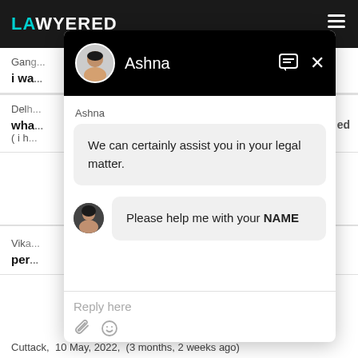LAWYERED
Gand...
i wa...
Delh...
wha... (i h...  ed
Vika...
per...
[Figure (screenshot): Chat widget overlay showing a conversation with Ashna. First message: 'We can certainly assist you in your legal matter.' Second message with avatar: 'Please help me with your NAME'. Reply input area at the bottom with attachment and emoji icons.]
Cuttack,  10 May, 2022,  (3 months, 2 weeks ago)